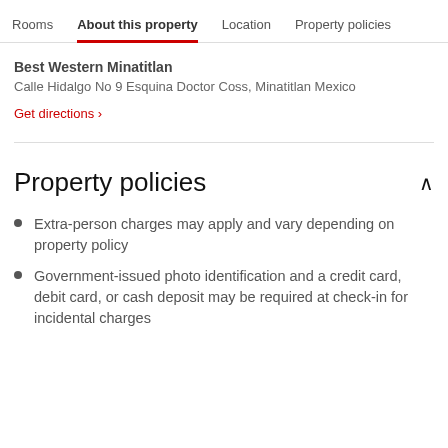Rooms  About this property  Location  Property policies
Best Western Minatitlan
Calle Hidalgo No 9 Esquina Doctor Coss, Minatitlan Mexico
Get directions ›
Property policies
Extra-person charges may apply and vary depending on property policy
Government-issued photo identification and a credit card, debit card, or cash deposit may be required at check-in for incidental charges